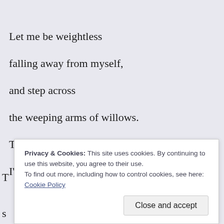Let me be weightless
falling away from myself,
and step across
the weeping arms of willows.
The ocean is bittersweet;
I'll swim the depths in search of me.
T
s
Privacy & Cookies: This site uses cookies. By continuing to use this website, you agree to their use.
To find out more, including how to control cookies, see here: Cookie Policy
Close and accept